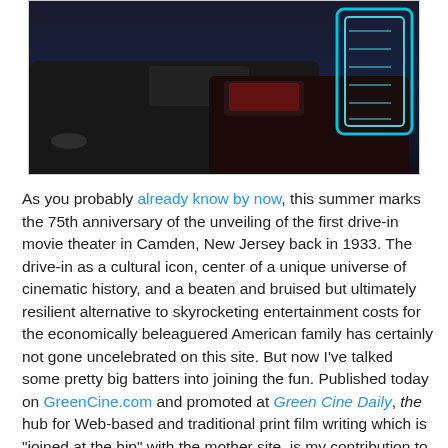[Figure (photo): Dark photo showing cars at a drive-in movie theater at night, with a glowing neon blue object on the right side]
As you probably already know by now, this summer marks the 75th anniversary of the unveiling of the first drive-in movie theater in Camden, New Jersey back in 1933. The drive-in as a cultural icon, center of a unique universe of cinematic history, and a beaten and bruised but ultimately resilient alternative to skyrocketing entertainment costs for the economically beleaguered American family has certainly not gone uncelebrated on this site. But now I've talked some pretty big batters into joining the fun. Published today on GreenCine.com and promoted at Green Cine Daily, the hub for Web-based and traditional print film writing which is "joined at the hip" with the mother site, is my contribution to their ongoing series of exhaustive and entertaining primers, entitled The Drive-in: It's Alive! It's one part personal remembrance, three parts history-- of drive-ins, American International Pictures, and 13 notable drive-in directors—-